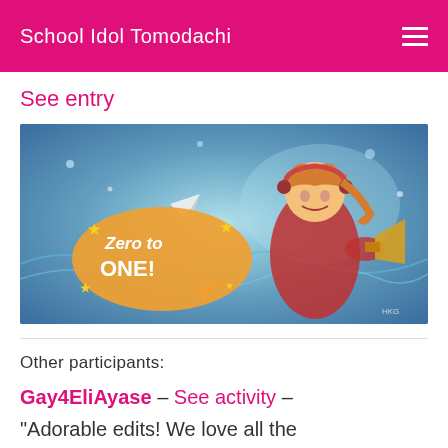School Idol Tomodachi
See entry
[Figure (illustration): Anime-style illustration of a girl with orange hair and headphones, holding a paper airplane and megaphone, with a speech bubble saying 'Zero to ONE!' and stars, on a blue/teal background. Watermark HKG in bottom right.]
Other participants:
Gay4EliAyase - See activity - "Adorable edits! We love all the different shades of orange you
Gay4EliAyase - See activity - "Adorable edits! We love all the different shades of orange you